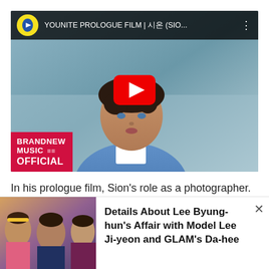[Figure (screenshot): YouTube video embed showing YOUNITE PROLOGUE FILM | 시온 (SIO... with a young Korean man in a blue sweater. BrandNew Music Official logo in bottom left. Red YouTube play button in center.]
In his prologue film, Sion's role as a photographer. He looked engrossed in taking pictures with a DSLR camera in his hand.
He then entered a photo studio, and his attention was drawn to
[Figure (photo): Ad overlay with photo of celebrities and headline: Details About Lee Byung-hun's Affair with Model Lee Ji-yeon and GLAM's Da-hee]